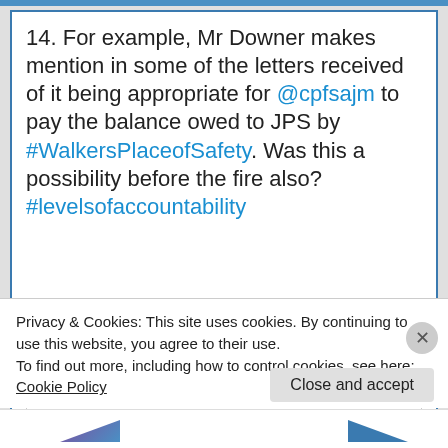14. For example, Mr Downer makes mention in some of the letters received of it being appropriate for @cpfsajm to pay the balance owed to JPS by #WalkersPlaceofSafety. Was this a possibility before the fire also? #levelsofaccountability
It seems to us that it would be appropriate for you to pay the amount outstanding especially as one of the shareholders of the utility company, Marubeni Corporation, has donated $1.3 million towards rebuilding Walker's Place of Safety. Further on the enclosure, J.P.S has asked that the amount be settled as soon as possible.
Privacy & Cookies: This site uses cookies. By continuing to use this website, you agree to their use.
To find out more, including how to control cookies, see here:
Cookie Policy
Close and accept